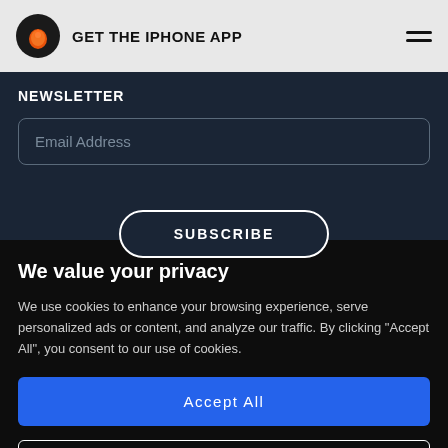[Figure (logo): App icon: black circle with orange flame/character logo]
GET THE IPHONE APP
[Figure (other): Hamburger menu icon (three horizontal lines)]
NEWSLETTER
Email Address
SUBSCRIBE
We value your privacy
We use cookies to enhance your browsing experience, serve personalized ads or content, and analyze our traffic. By clicking "Accept All", you consent to our use of cookies.
Accept All
Customize